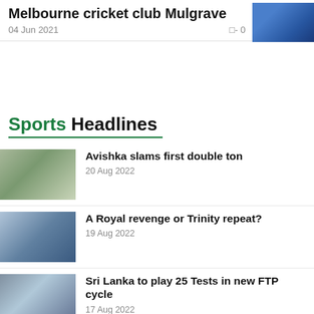Melbourne cricket club Mulgrave
04 Jun 2021   □-0   ▐▐-13250
Sports Headlines
[Figure (photo): Cricket player batting]
Avishka slams first double ton
20 Aug 2022
[Figure (photo): Crowd of people, possibly cricket spectators]
A Royal revenge or Trinity repeat?
19 Aug 2022
[Figure (photo): Cricket players on a field]
Sri Lanka to play 25 Tests in new FTP cycle
17 Aug 2022